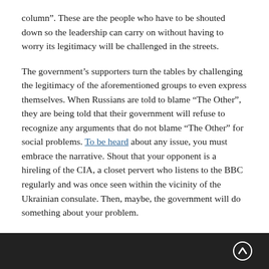column”. These are the people who have to be shouted down so the leadership can carry on without having to worry its legitimacy will be challenged in the streets.
The government’s supporters turn the tables by challenging the legitimacy of the aforementioned groups to even express themselves. When Russians are told to blame “The Other”, they are being told that their government will refuse to recognize any arguments that do not blame “The Other” for social problems. To be heard about any issue, you must embrace the narrative. Shout that your opponent is a hireling of the CIA, a closet pervert who listens to the BBC regularly and was once seen within the vicinity of the Ukrainian consulate. Then, maybe, the government will do something about your problem.